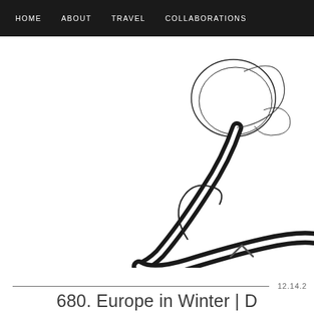HOME   ABOUT   TRAVEL   COLLABORATIONS
[Figure (illustration): Decorative cursive calligraphy letter, large ornate script letterform in black and white, partially cropped at right edge]
12.14.2
680. Europe in Winter | D...